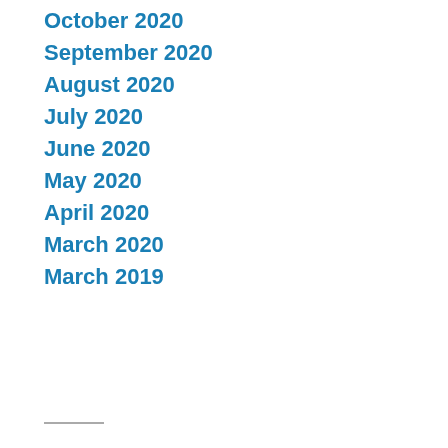October 2020
September 2020
August 2020
July 2020
June 2020
May 2020
April 2020
March 2020
March 2019